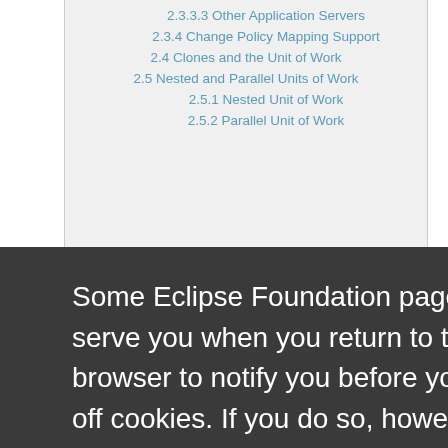2.3.3.3 Other Application Servers
2.3.4 Change Policy Mapping Support
2.4 Clones and the Unit of Work
2.5 Nested and Parallel Units of Work
2.5.1 Nested Unit of Work
2.5.2 Parallel Unit of Work
Some Eclipse Foundation pages use cookies to better serve you when you return to the site. You can set your browser to notify you before you receive a cookie or turn off cookies. If you do so, however, some areas of some sites may not function properly. To read Eclipse Foundation Privacy Policy click here.
3.1.2 Locking and the Unit of Work
4 Example Model Object and Schema